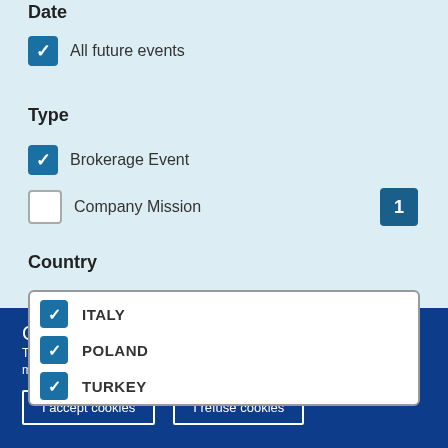Date
All future events (checked)
Type
Brokerage Event (checked)
Company Mission (unchecked) — badge: 1
Country
ITALY (checked)
POLAND (checked)
TURKEY (partially visible, checked)
Cookies
This site uses cookies to offer you a better browsing experience. Find out more on how we use cookies and how you can change your settings.
I accept cookies
I refuse cookies